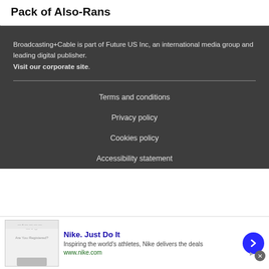Pack of Also-Rans
Broadcasting+Cable is part of Future US Inc, an international media group and leading digital publisher. Visit our corporate site.
Terms and conditions
Privacy policy
Cookies policy
Accessibility statement
[Figure (other): Nike advertisement banner: Nike. Just Do It - Inspiring the world's athletes, Nike delivers the deals - www.nike.com]